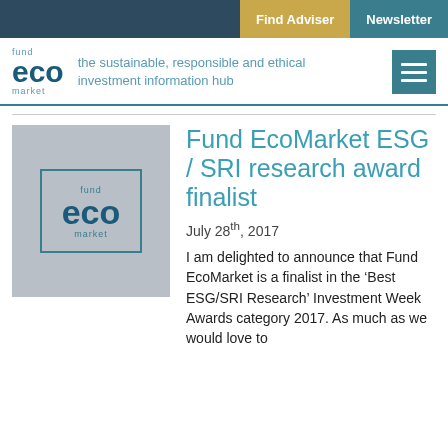Find Adviser | Newsletter
[Figure (logo): Fund EcoMarket logo with tagline 'the sustainable, responsible and ethical investment information hub' and hamburger menu icon]
Fund EcoMarket ESG / SRI research award finalist
July 28th, 2017
I am delighted to announce that Fund EcoMarket is a finalist in the ‘Best ESG/SRI Research’ Investment Week Awards category 2017. As much as we would love to